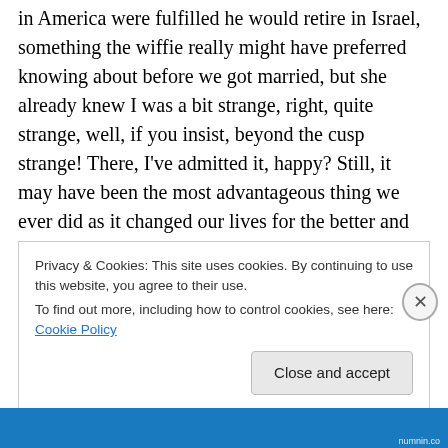in America were fulfilled he would retire in Israel, something the wiffie really might have preferred knowing about before we got married, but she already knew I was a bit strange, right, quite strange, well, if you insist, beyond the cusp strange! There, I've admitted it, happy? Still, it may have been the most advantageous thing we ever did as it changed our lives for the better and really opened up our lives much as a rose stretches out its petal to greet the morning sun and drink up the warmth and the blessed energy G0d has seen in His wisdom to provide for that rose bud so tightly shuttered to awaken stretching out
Privacy & Cookies: This site uses cookies. By continuing to use this website, you agree to their use.
To find out more, including how to control cookies, see here: Cookie Policy
Close and accept